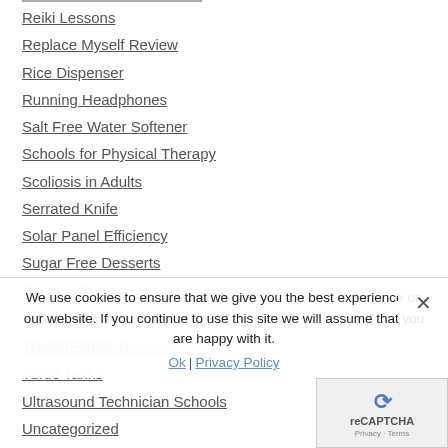Reiki Lessons
Replace Myself Review
Rice Dispenser
Running Headphones
Salt Free Water Softener
Schools for Physical Therapy
Scoliosis in Adults
Serrated Knife
Solar Panel Efficiency
Sugar Free Desserts
Survival Straps
Teepee Tents
Tension Wrench
Throwing Knives
Thumb Screw Openers
Turtle Tanks
Ultrasound Technician Schools
Uncategorized
We use cookies to ensure that we give you the best experience on our website. If you continue to use this site we will assume that you are happy with it.
Ok   Privacy Policy